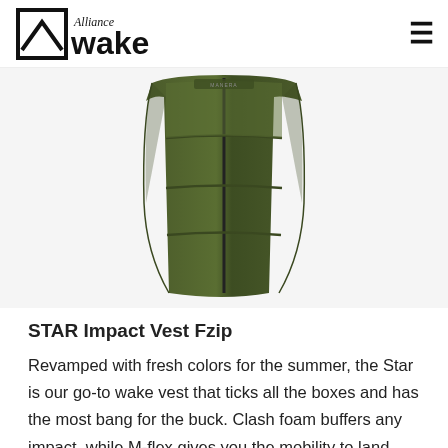Alliance Wake
[Figure (photo): Olive green STAR Impact Vest Fzip impact vest shown front-on against white background]
STAR Impact Vest Fzip
Revamped with fresh colors for the summer, the Star is our go-to wake vest that ticks all the boxes and has the most bang for the buck. Clash foam buffers any impact, while M-flex gives you the mobility to land